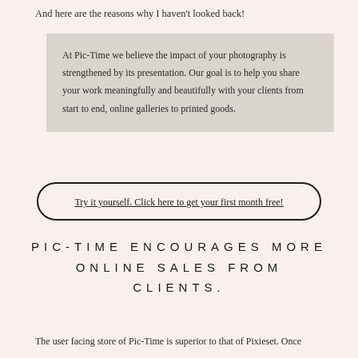And here are the reasons why I haven't looked back!
At Pic-Time we believe the impact of your photography is strengthened by its presentation. Our goal is to help you share your work meaningfully and beautifully with your clients from start to end, online galleries to printed goods.
Try it yourself. Click here to get your first month free!
PIC-TIME ENCOURAGES MORE ONLINE SALES FROM CLIENTS.
The user facing store of Pic-Time is superior to that of Pixieset. Once